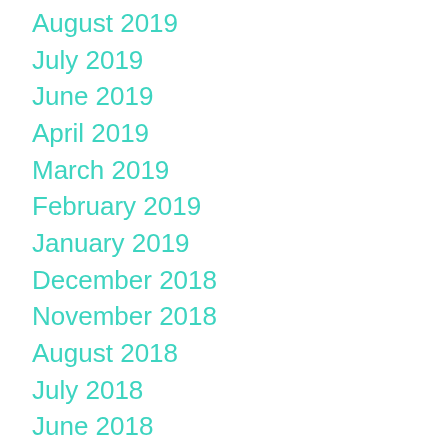August 2019
July 2019
June 2019
April 2019
March 2019
February 2019
January 2019
December 2018
November 2018
August 2018
July 2018
June 2018